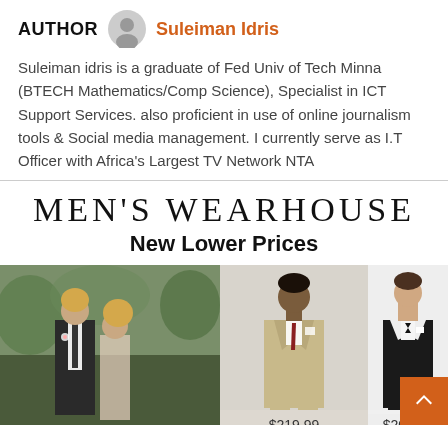AUTHOR  Suleiman Idris
Suleiman idris is a graduate of Fed Univ of Tech Minna (BTECH Mathematics/Comp Science), Specialist in ICT Support Services. also proficient in use of online journalism tools & Social media management. I currently serve as I.T Officer with Africa's Largest TV Network NTA
[Figure (illustration): Men's Wearhouse advertisement banner with brand name, 'New Lower Prices' tagline, and product photos showing men in suits with prices $219.99 and $209.99]